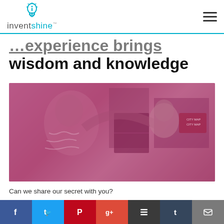invent shine logo and navigation
…experience brings wisdom and knowledge
[Figure (photo): Vintage sepia/pink-toned photo of a person holding up a baby, in what appears to be an office setting with file cabinets and papers in the background.]
Can we share our secret with you?
Allison and I have been working together and
Social share bar: Facebook, Twitter, Pinterest, Google+, Buffer, Tumblr, Email